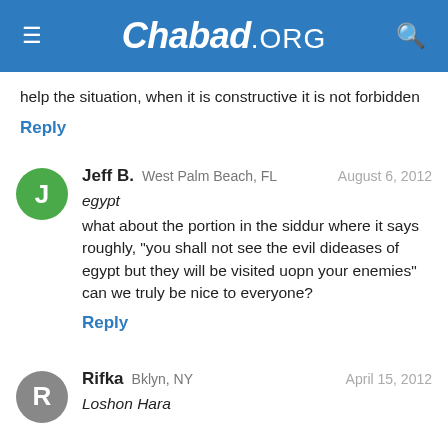Chabad.ORG
help the situation, when it is constructive it is not forbidden
Reply
Jeff B.  West Palm Beach, FL    August 6, 2012
egypt
what about the portion in the siddur where it says roughly, "you shall not see the evil dideases of egypt but they will be visited uopn your enemies" can we truly be nice to everyone?
Reply
Rifka  Bklyn, NY    April 15, 2012
Loshon Hara